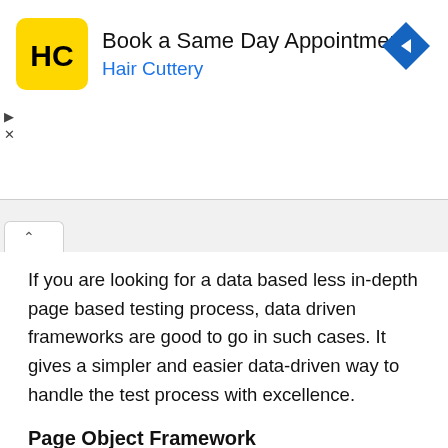[Figure (logo): Hair Cuttery advertisement banner with HC logo, text 'Book a Same Day Appointment' and 'Hair Cuttery', and a blue navigation arrow icon. Play and close controls on the left.]
If you are looking for a data based less in-depth page based testing process, data driven frameworks are good to go in such cases. It gives a simpler and easier data-driven way to handle the test process with excellence.
Page Object Framework
This is one of the most popular framework patterns being used these days for